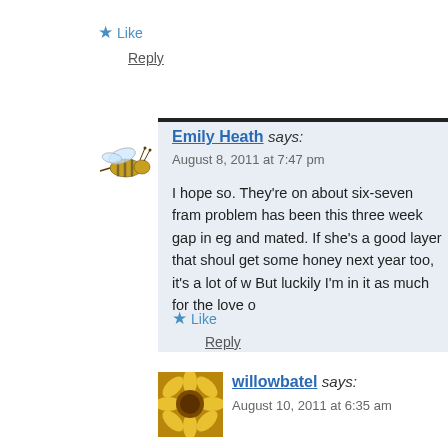★ Like
Reply
Emily Heath says:
August 8, 2011 at 7:47 pm
I hope so. They're on about six-seven fram problem has been this three week gap in eg and mated. If she's a good layer that shoul get some honey next year too, it's a lot of w But luckily I'm in it as much for the love o
★ Like
Reply
[Figure (illustration): Bee avatar image for commenter Emily Heath]
[Figure (photo): Sunflower/yellow flower avatar for commenter willowbatel]
willowbatel says:
August 10, 2011 at 6:35 am